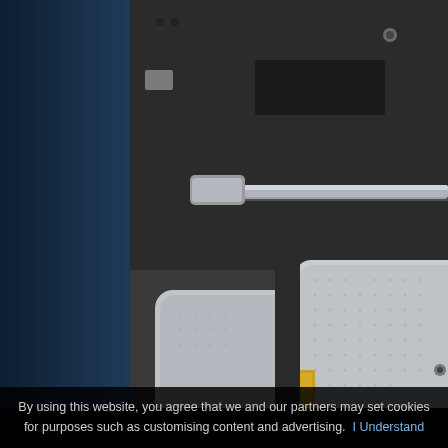[Figure (photo): Close-up photograph of a metallic electronic component or PCB shield, showing metal casing with rectangular cutouts, a metal rod/hinge, and textured surfaces. A dark blue vertical sidebar is visible on the left side of the image.]
By using this website, you agree that we and our partners may set cookies for purposes such as customising content and advertising.   I Understand